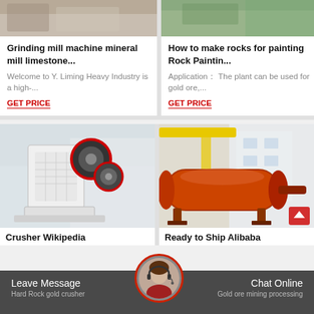[Figure (photo): Industrial grinding mill machine equipment photo (top cropped)]
Grinding mill machine mineral mill limestone...
Welcome to Y. Liming Heavy Industry is a high-...
GET PRICE
[Figure (photo): Industrial plant equipment photo (top cropped)]
How to make rocks for painting Rock Paintin...
Application： The plant can be used for gold ore,...
GET PRICE
[Figure (photo): White jaw crusher equipment in factory]
Crusher Wikipedia
[Figure (photo): Orange cylindrical ball mill in factory]
Ready to Ship Alibaba
Leave Message   Chat Online   Hard Rock gold crusher   Gold ore mining processing